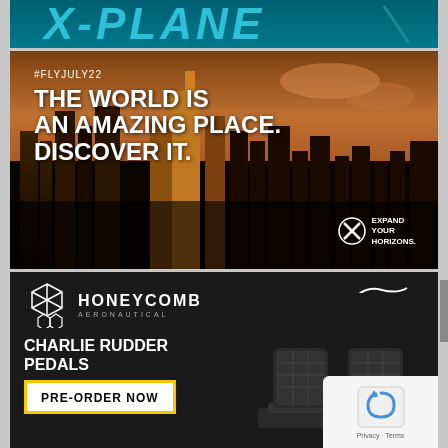[Figure (logo): X-Plane logo banner with large stylized italic blue text on dark teal background]
[Figure (photo): Advertisement banner with aerial city skyline at sunset/dusk. Text reads '#FLYJULY22' and 'THE WORLD IS AN AMAZING PLACE. DISCOVER IT.' with 'EXPAND YOUR HORIZONS.' logo in bottom right corner.]
[Figure (photo): Honeycomb Aeronautical advertisement on dark background showing Charlie Rudder Pedals product. Includes 'AEROSOFT.COM' logo top right, 'CHARLIE RUDDER PEDALS' text, and 'PRE-ORDER NOW' button. Product image shows black rudder pedals.]